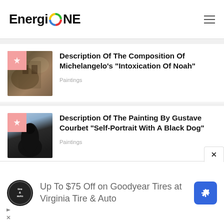EnergioNE
[Figure (photo): Thumbnail of Michelangelo's Intoxication of Noah painting, brownish warm tones with a pink badge corner]
Description Of The Composition Of Michelangelo's "Intoxication Of Noah"
Paintings
[Figure (photo): Thumbnail of Gustave Courbet Self-Portrait With A Black Dog painting, dark figure against lighter background, pink badge corner]
Description Of The Painting By Gustave Courbet "Self-Portrait With A Black Dog"
Paintings
Up To $75 Off on Goodyear Tires at Virginia Tire & Auto